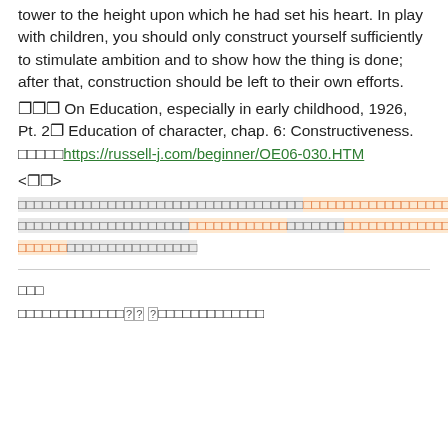tower to the height upon which he had set his heart. In play with children, you should only construct yourself sufficiently to stimulate ambition and to show how the thing is done; after that, construction should be left to their own efforts.
[?][?][?] On Education, especially in early childhood, 1926, Pt. 2[?] Education of character, chap. 6: Constructiveness.
[?][?][?][?][?]https://russell-j.com/beginner/OE06-030.HTM
<[?][?]>
[Japanese text with highlighted segments]
[?][?][?]
[Japanese text at bottom]